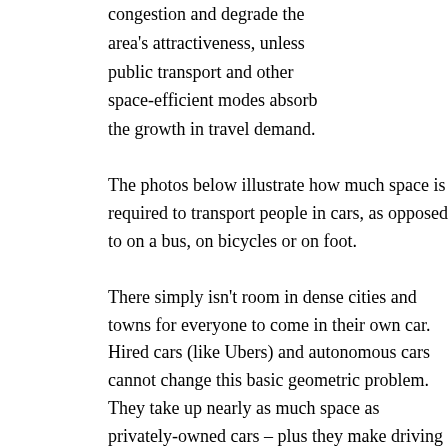congestion and degrade the area's attractiveness, unless public transport and other space-efficient modes absorb the growth in travel demand.
The photos below illustrate how much space is required to transport people in cars, as opposed to on a bus, on bicycles or on foot.
There simply isn't room in dense cities and towns for everyone to come in their own car. Hired cars (like Ubers) and autonomous cars cannot change this basic geometric problem. They take up nearly as much space as privately-owned cars – plus they make driving so much easier and more attractive that